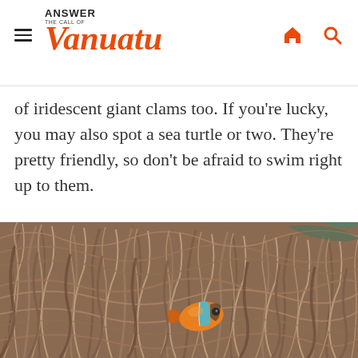Answer the Call of Vanuatu
of iridescent giant clams too. If you're lucky, you may also spot a sea turtle or two. They're pretty friendly, so don't be afraid to swim right up to them.
[Figure (photo): Close-up underwater photo of a clownfish (orange with blue and white stripes) nestled in brown sea anemone tentacles]